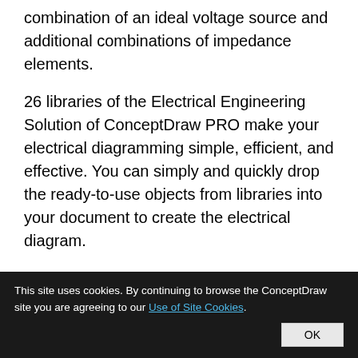combination of an ideal voltage source and additional combinations of impedance elements.
26 libraries of the Electrical Engineering Solution of ConceptDraw PRO make your electrical diagramming simple, efficient, and effective. You can simply and quickly drop the ready-to-use objects from libraries into your document to create the electrical diagram.
This site uses cookies. By continuing to browse the ConceptDraw site you are agreeing to our Use of Site Cookies. OK